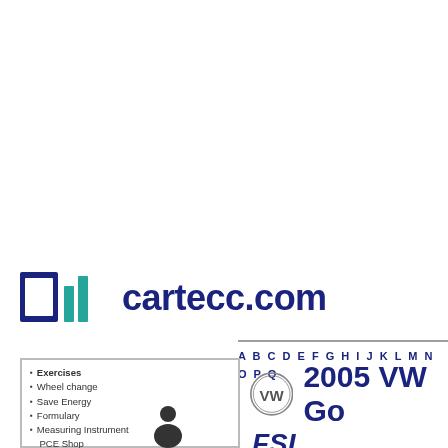[Figure (logo): cartecc.com logo with blue square icon and bar chart icon]
cartecc.com
A B C D E F G H I J K L M N O P Q
Exercises
Wheel change
Save Energy
Formulary
Measuring Instrument PCE Shop
[Figure (logo): VW Volkswagen circular logo]
2005 VW Go
FSI